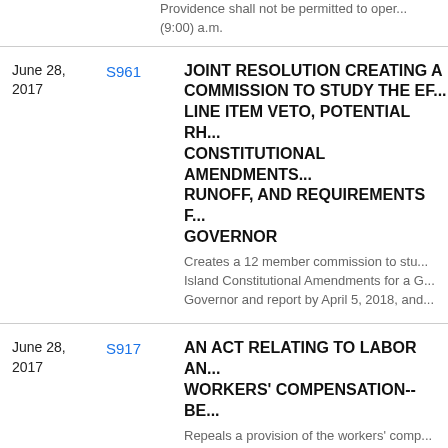Providence shall not be permitted to open (9:00) a.m.
June 28, 2017
S961
JOINT RESOLUTION CREATING A COMMISSION TO STUDY THE EFFECT OF THE LINE ITEM VETO, POTENTIAL RHODE ISLAND CONSTITUTIONAL AMENDMENTS FOR A GOVERNOR RUNOFF, AND REQUIREMENTS FOR LIEUTENANT GOVERNOR
Creates a 12 member commission to study Rhode Island Constitutional Amendments for a Governor Runoff, Lieutenant Governor and report by April 5, 2018, and...
June 28, 2017
S917
AN ACT RELATING TO LABOR AND WORKERS' COMPENSATION--BENEFITS
Repeals a provision of the workers' compensation law that requires, for injuries on and after July 1, 2023, "material" functional impairment for compensable injuries causing a greater than 10% whole person level of functional impairment.